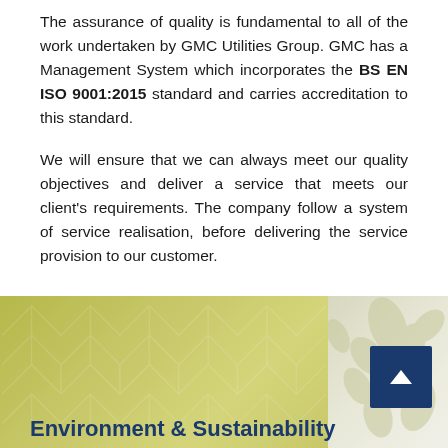The assurance of quality is fundamental to all of the work undertaken by GMC Utilities Group. GMC has a Management System which incorporates the BS EN ISO 9001:2015 standard and carries accreditation to this standard.
We will ensure that we can always meet our quality objectives and deliver a service that meets our client's requirements. The company follow a system of service realisation, before delivering the service provision to our customer.
[Figure (illustration): Bottom banner with olive/khaki gradient background featuring a subtle hexagonal pattern on the left side and a lighter decorative floral/leaf pattern on the right side. A dark navy blue scroll-to-top button with an upward arrow chevron is positioned in the right area.]
Environment & Sustainability